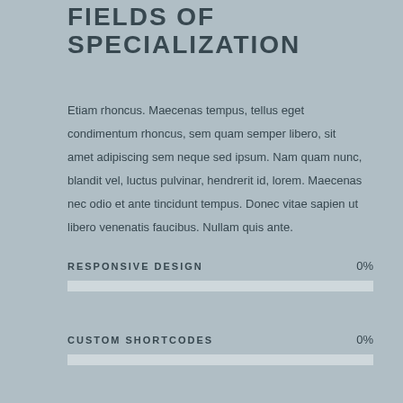FIELDS OF SPECIALIZATION
Etiam rhoncus. Maecenas tempus, tellus eget condimentum rhoncus, sem quam semper libero, sit amet adipiscing sem neque sed ipsum. Nam quam nunc, blandit vel, luctus pulvinar, hendrerit id, lorem. Maecenas nec odio et ante tincidunt tempus. Donec vitae sapien ut libero venenatis faucibus. Nullam quis ante.
RESPONSIVE DESIGN
[Figure (bar-chart): RESPONSIVE DESIGN]
CUSTOM SHORTCODES
[Figure (bar-chart): CUSTOM SHORTCODES]